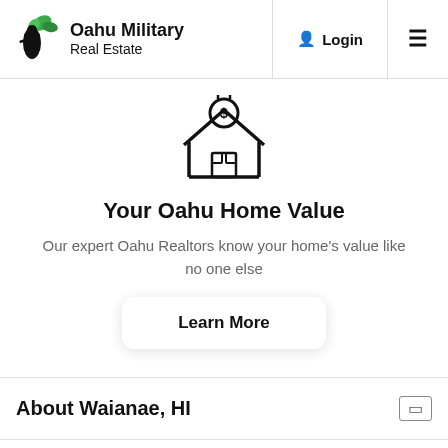Oahu Military Real Estate | Login | Menu
[Figure (illustration): Line art icon of a house with a dollar sign coin on top, representing home value]
Your Oahu Home Value
Our expert Oahu Realtors know your home's value like no one else
Learn More
About Waianae, HI